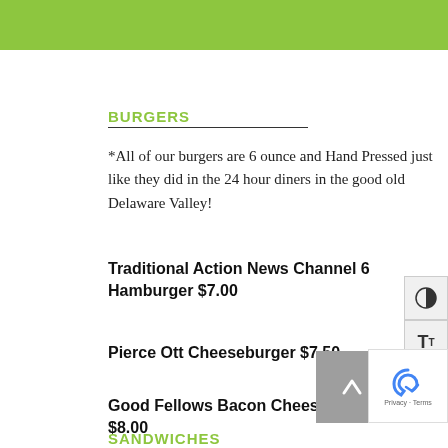BURGERS
*All of our burgers are 6 ounce and Hand Pressed just like they did in the 24 hour diners in the good old Delaware Valley!
Traditional Action News Channel 6 Hamburger $7.00
Pierce Ott Cheeseburger $7.50
Good Fellows Bacon Cheeseburger $8.00
SANDWICHES